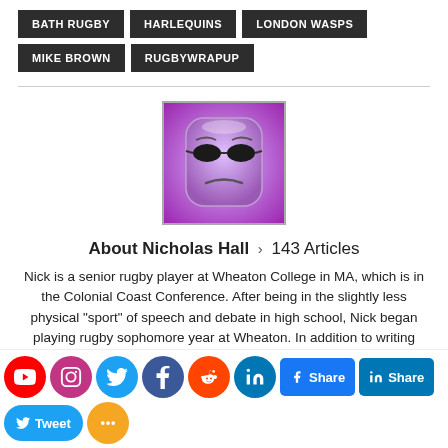BATH RUGBY
HARLEQUINS
LONDON WASPS
MIKE BROWN
RUGBYWRAPUP
[Figure (illustration): Purple cartoon face avatar with sunglasses and frown expression]
About Nicholas Hall > 143 Articles
Nick is a senior rugby player at Wheaton College in MA, which is in the Colonial Coast Conference. After being in the slightly less physical "sport" of speech and debate in high school, Nick began playing rugby sophomore year at Wheaton. In addition to writing for RugbyWrapUp.com, Nick writes for the Wheaton ...paper.